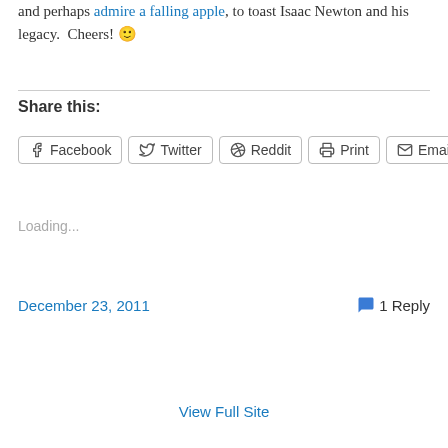and perhaps admire a falling apple, to toast Isaac Newton and his legacy.  Cheers! 🙂
Share this:
Facebook
Twitter
Reddit
Print
Email
Loading...
December 23, 2011    1 Reply
View Full Site